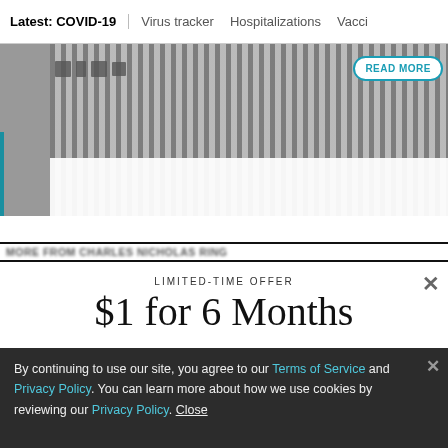Latest: COVID-19 | Virus tracker | Hospitalizations | Vacci
[Figure (photo): Partial screenshot of a news website showing a person in a striped shirt with a READ MORE button overlay and a blue left accent bar]
LIMITED-TIME OFFER
$1 for 6 Months
SUBSCRIBE NOW
By continuing to use our site, you agree to our Terms of Service and Privacy Policy. You can learn more about how we use cookies by reviewing our Privacy Policy. Close